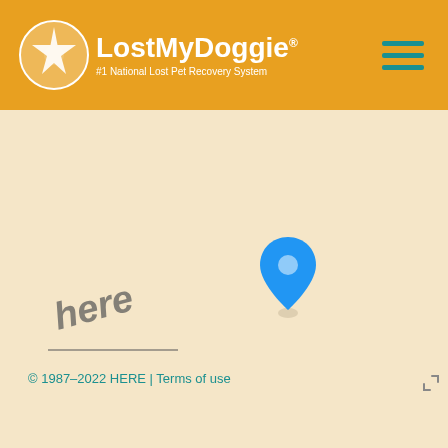LostMyDoggie #1 National Lost Pet Recovery System
[Figure (map): Beige/tan map background with a single blue location pin marker positioned slightly right of center on the map. The map is mostly empty with no visible street labels. A 'here' watermark logo appears in the bottom-left corner.]
© 1987–2022 HERE | Terms of use